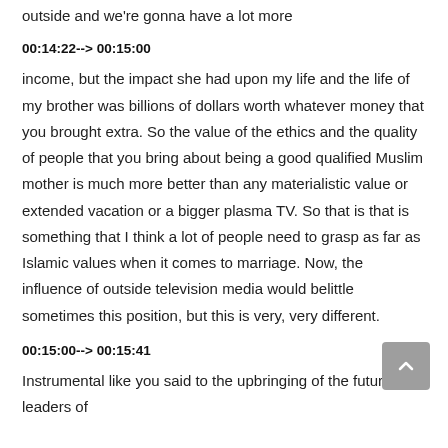outside and we're gonna have a lot more
00:14:22--> 00:15:00
income, but the impact she had upon my life and the life of my brother was billions of dollars worth whatever money that you brought extra. So the value of the ethics and the quality of people that you bring about being a good qualified Muslim mother is much more better than any materialistic value or extended vacation or a bigger plasma TV. So that is that is something that I think a lot of people need to grasp as far as Islamic values when it comes to marriage. Now, the influence of outside television media would belittle sometimes this position, but this is very, very different.
00:15:00--> 00:15:41
Instrumental like you said to the upbringing of the future leaders of